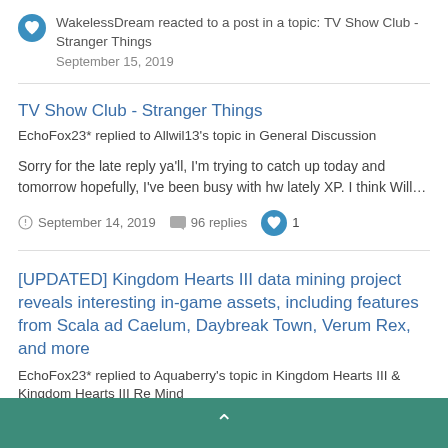WakelessDream reacted to a post in a topic: TV Show Club - Stranger Things
September 15, 2019
TV Show Club - Stranger Things
EchoFox23* replied to Allwil13's topic in General Discussion
Sorry for the late reply ya'll, I'm trying to catch up today and tomorrow hopefully, I've been busy with hw lately XP. I think Will...
September 14, 2019   96 replies   1
[UPDATED] Kingdom Hearts III data mining project reveals interesting in-game assets, including features from Scala ad Caelum, Daybreak Town, Verum Rex, and more
EchoFox23* replied to Aquaberry's topic in Kingdom Hearts III & Kingdom Hearts III Re Mind